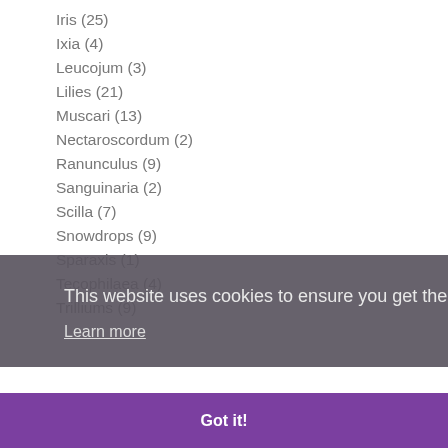Iris (25)
Ixia (4)
Leucojum (3)
Lilies (21)
Muscari (13)
Nectaroscordum (2)
Ranunculus (9)
Sanguinaria (2)
Scilla (7)
Snowdrops (9)
Sparaxis (1)
Tecophilaea (4)
Trilliums (9)
This website uses cookies to ensure you get the best experience on our website.
Learn more
Got it!